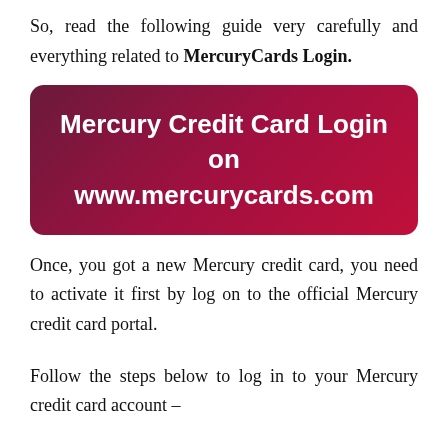So, read the following guide very carefully and everything related to MercuryCards Login.
[Figure (other): Dark red/crimson rounded rectangle banner with white bold text reading 'Mercury Credit Card Login on www.mercurycards.com']
Once, you got a new Mercury credit card, you need to activate it first by log on to the official Mercury credit card portal.
Follow the steps below to log in to your Mercury credit card account –